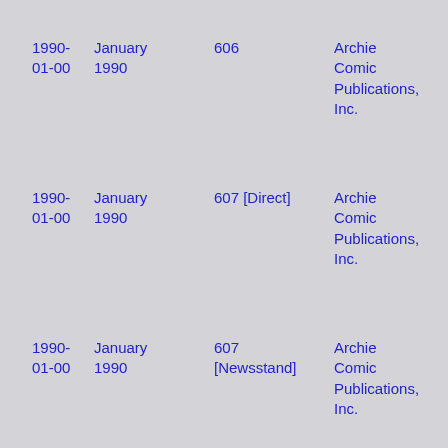1990-01-00  January 1990  606  Archie Comic Publications, Inc.
1990-01-00  January 1990  607 [Direct]  Archie Comic Publications, Inc.
1990-01-00  January 1990  607 [Newsstand]  Archie Comic Publications, Inc.